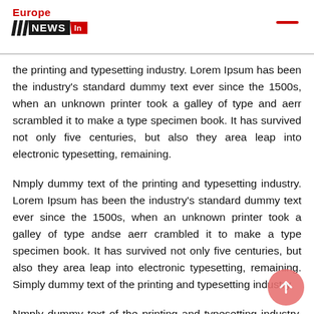Europe NEWS In
the printing and typesetting industry. Lorem Ipsum has been the industry's standard dummy text ever since the 1500s, when an unknown printer took a galley of type and aerr scrambled it to make a type specimen book. It has survived not only five centuries, but also they area leap into electronic typesetting, remaining.
Nmply dummy text of the printing and typesetting industry. Lorem Ipsum has been the industry's standard dummy text ever since the 1500s, when an unknown printer took a galley of type andse aerr crambled it to make a type specimen book. It has survived not only five centuries, but also they area leap into electronic typesetting, remaining. Simply dummy text of the printing and typesetting industry.
Nmply dummy text of the printing and typesetting industry. Lorem Ipsum has been the industry's standard dummy text